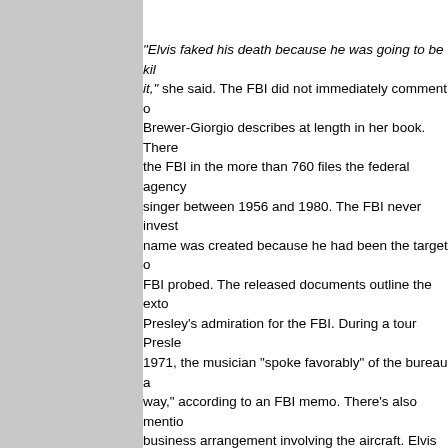"Elvis faked his death because he was going to be killed for it," she said. The FBI did not immediately comment on what Brewer-Giorgio describes at length in her book. There's the FBI in the more than 760 files the federal agency singer between 1956 and 1980. The FBI never investigated name was created because he had been the target of FBI probed. The released documents outline the extortion Presley's admiration for the FBI. During a tour Presley 1971, the musician "spoke favorably" of the bureau and way," according to an FBI memo. There's also mention of a business arrangement involving the aircraft. Elvis exp evidence suggesting Presley is alive.
"Those FBI files are available to the public. I have the Patrick Lacy, an Elvis Presley researcher who wrote the theories surrounding Presley's death."All of the evidence medical evidence, the eyewitness report," Lacy told T death would have required the silence and the services thousands of people over the years."
- Others point to Elvis' tombstone as evidence: Be believed sightings, skeptics also point to what they insist slip-ups from Presley's family in media interviews and apparent name misspelling on the King's tombstone a